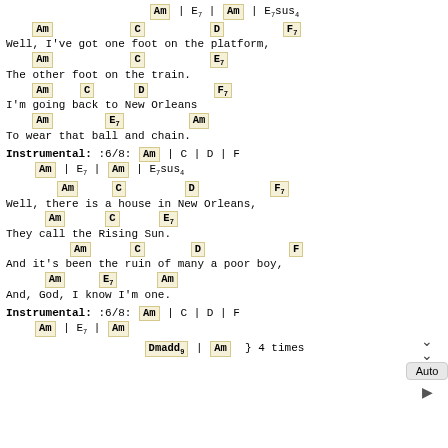Am | E7 | Am | E7sus4
Am  C  D  F7
Well, I've got one foot on the platform,
Am  C  E7
The other foot on the train.
Am  C  D  F7
I'm going back to New Orleans
Am  E7  Am
To wear that ball and chain.
Instrumental: :6/8: Am | C | D | F
Am | E7 | Am | E7sus4
Am  C  D  F7
Well, there is a house in New Orleans,
Am  C  E7
They call the Rising Sun.
Am  C  D  F
And it's been the ruin of many a poor boy,
Am  E7  Am
And, God, I know I'm one.
Instrumental: :6/8: Am | C | D | F
Am | E7 | Am
Dmadd9 | Am  } 4 times